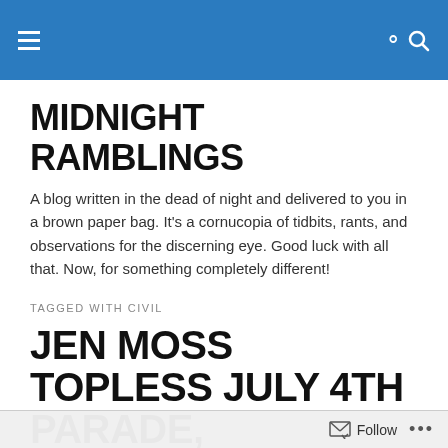MIDNIGHT RAMBLINGS — navigation header bar
MIDNIGHT RAMBLINGS
A blog written in the dead of night and delivered to you in a brown paper bag. It's a cornucopia of tidbits, rants, and observations for the discerning eye. Good luck with all that. Now, for something completely different!
TAGGED WITH CIVIL
JEN MOSS TOPLESS JULY 4TH PARADE, LEMONADE STAND ROBBERY, MONK SEX ADVICE, STUPID LIB...
Follow